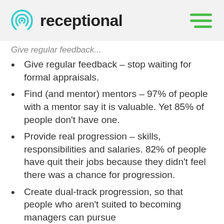receptional
Give regular feedback – stop waiting for formal appraisals.
Give regular feedback – stop waiting for formal appraisals.
Find (and mentor) mentors – 97% of people with a mentor say it is valuable. Yet 85% of people don't have one.
Provide real progression – skills, responsibilities and salaries. 82% of people have quit their jobs because they didn't feel there was a chance for progression.
Create dual-track progression, so that people who aren't suited to becoming managers can pursue technical excellence.